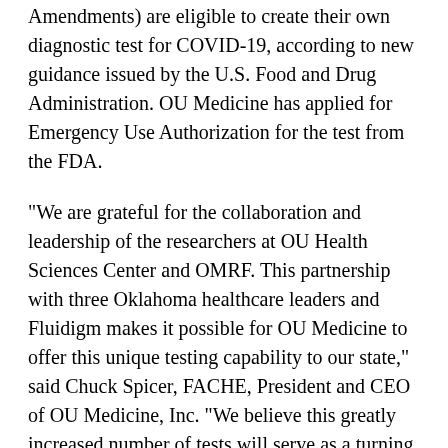Amendments) are eligible to create their own diagnostic test for COVID-19, according to new guidance issued by the U.S. Food and Drug Administration. OU Medicine has applied for Emergency Use Authorization for the test from the FDA.
"We are grateful for the collaboration and leadership of the researchers at OU Health Sciences Center and OMRF. This partnership with three Oklahoma healthcare leaders and Fluidigm makes it possible for OU Medicine to offer this unique testing capability to our state," said Chuck Spicer, FACHE, President and CEO of OU Medicine, Inc. "We believe this greatly increased number of tests will serve as a turning point in our battle against the COVID-19 pandemic.
"Readily accessible and rapid testing for COVID-19 not only expedites treatment for patients who test positive, but it allows healthcare providers to be routinely tested to ensure their safety and that of everyone they encounter," Spicer